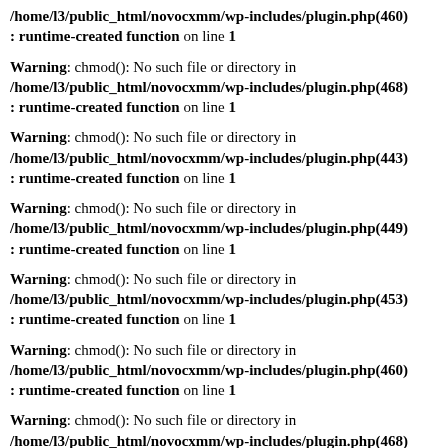/home/l3/public_html/novocxmm/wp-includes/plugin.php(460): runtime-created function on line 1
Warning: chmod(): No such file or directory in /home/l3/public_html/novocxmm/wp-includes/plugin.php(468): runtime-created function on line 1
Warning: chmod(): No such file or directory in /home/l3/public_html/novocxmm/wp-includes/plugin.php(443): runtime-created function on line 1
Warning: chmod(): No such file or directory in /home/l3/public_html/novocxmm/wp-includes/plugin.php(449): runtime-created function on line 1
Warning: chmod(): No such file or directory in /home/l3/public_html/novocxmm/wp-includes/plugin.php(453): runtime-created function on line 1
Warning: chmod(): No such file or directory in /home/l3/public_html/novocxmm/wp-includes/plugin.php(460): runtime-created function on line 1
Warning: chmod(): No such file or directory in /home/l3/public_html/novocxmm/wp-includes/plugin.php(468)